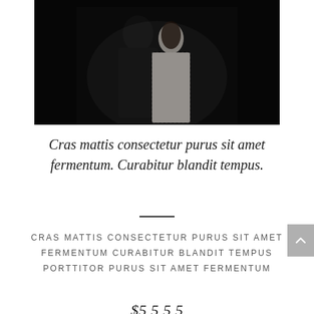[Figure (photo): A couple in wedding attire posed against a dark background. The groom wears a dark suit and the bride wears a white lace dress. They are embracing intimately.]
Cras mattis consectetur purus sit amet fermentum. Curabitur blandit tempus.
CRAS MATTIS CONSECTETUR PURUS SIT AMET FERMENTUM CURABITUR BLANDIT TEMPUS PORTTITOR PURUS SIT AMET FERMENTUM